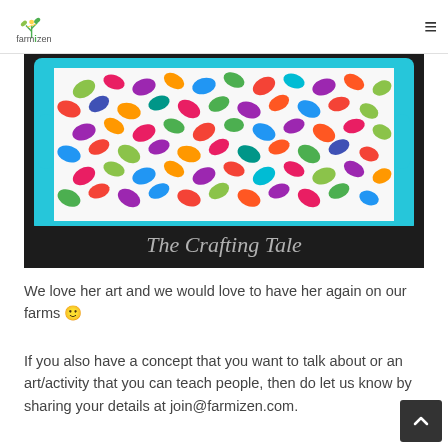farmizen
[Figure (photo): A colorful fabric with multicolored leaf pattern in a turquoise tray, with 'The Crafting Tale' text overlay at the bottom of the image]
We love her art and we would love to have her again on our farms 🙂
If you also have a concept that you want to talk about or an art/activity that you can teach people, then do let us know by sharing your details at join@farmizen.com.